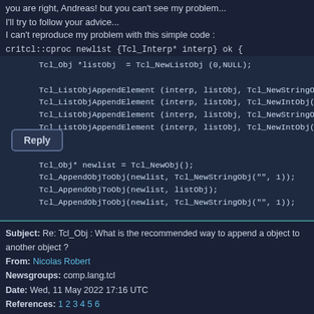I'll try to follow your advice...
I can't reproduce my problem with this simple code :
critcl::cproc newlist {Tcl_Interp* interp} ok {
[Figure (screenshot): Code block showing Tcl C API code: creating a list object, appending elements, and setting result]
puts [newlist] ; # 'a 30 c 40'
I'll continue
Reply button
Subject: Re: Tcl_Obj : What is the recommended way to append a object to another object ?
From: Nicolas Robert
Newsgroups: comp.lang.tcl
Date: Wed, 11 May 2022 17:16 UTC
References: 1 2 3 4 5 6